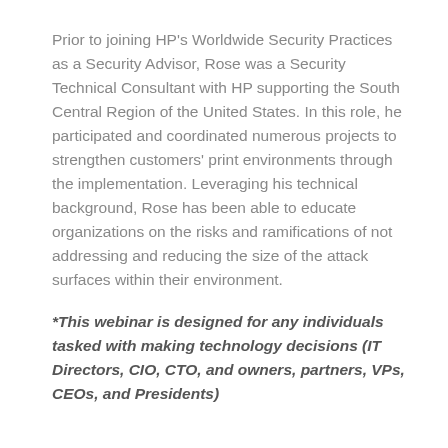Prior to joining HP's Worldwide Security Practices as a Security Advisor, Rose was a Security Technical Consultant with HP supporting the South Central Region of the United States. In this role, he participated and coordinated numerous projects to strengthen customers' print environments through the implementation. Leveraging his technical background, Rose has been able to educate organizations on the risks and ramifications of not addressing and reducing the size of the attack surfaces within their environment.
*This webinar is designed for any individuals tasked with making technology decisions (IT Directors, CIO, CTO, and owners, partners, VPs, CEOs, and Presidents)